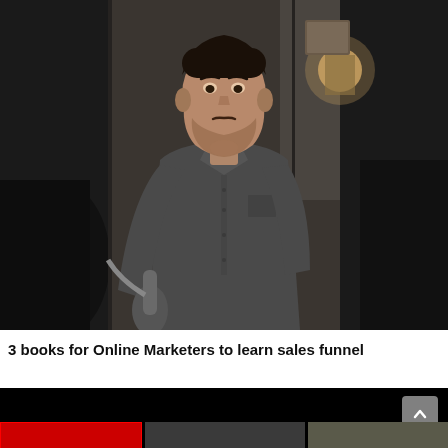[Figure (photo): A young man in a dark grey button-up shirt speaking to camera, standing in a dimly lit room. The center of the frame is lit; the sides are dark/blurred. A wall lamp glows in the background upper right, and there are some decorative items on the wall. A microphone is visible lower left.]
3 books for Online Marketers to learn sales funnel
[Figure (screenshot): A dark/black video thumbnail area with a grey scroll-up button in the upper right corner, and a partial red and grey strip at the bottom showing partial thumbnails of other videos.]